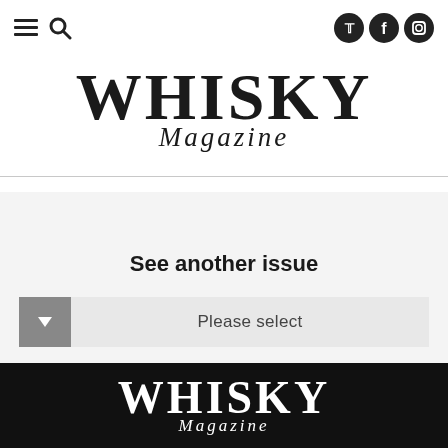Navigation bar with hamburger menu, search icon, and social icons (Twitter, Facebook, Instagram)
WHISKY Magazine
See another issue
Please select
[Figure (logo): Whisky Magazine logo in white on black background at bottom of page]